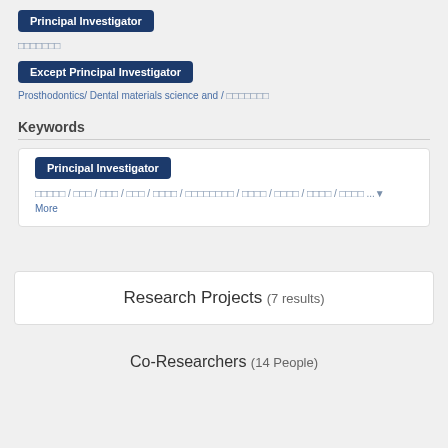Principal Investigator
□□□□□□□
Except Principal Investigator
Prosthodontics/ Dental materials science and / □□□□□□□
Keywords
Principal Investigator
□□□□□ / □□□ / □□□ / □□□ / □□□□ / □□□□□□□□ / □□□□ / □□□□ / □□□□ / □□□□ ...▾
More
Research Projects (7 results)
Co-Researchers (14 People)